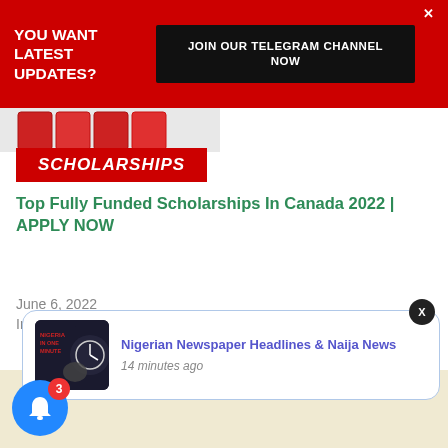YOU WANT LATEST UPDATES?
JOIN OUR TELEGRAM CHANNEL NOW
[Figure (photo): Red blocks/books image (partially visible at top)]
SCHOLARSHIPS
Top Fully Funded Scholarships In Canada 2022 | APPLY NOW
June 6, 2022
In "Education"
[Figure (photo): Nigerian Newspaper Headlines & Naija News thumbnail with clock/hands image on dark background]
Nigerian Newspaper Headlines & Naija News
14 minutes ago